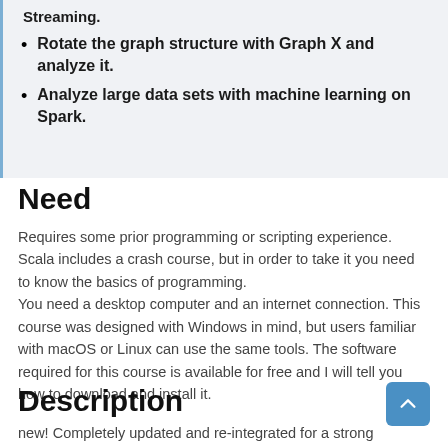Rotate the graph structure with Graph X and analyze it.
Analyze large data sets with machine learning on Spark.
Need
Requires some prior programming or scripting experience. Scala includes a crash course, but in order to take it you need to know the basics of programming. You need a desktop computer and an internet connection. This course was designed with Windows in mind, but users familiar with macOS or Linux can use the same tools. The software required for this course is available for free and I will tell you how to download and install it.
Description
new! Completely updated and re-integrated for a strong